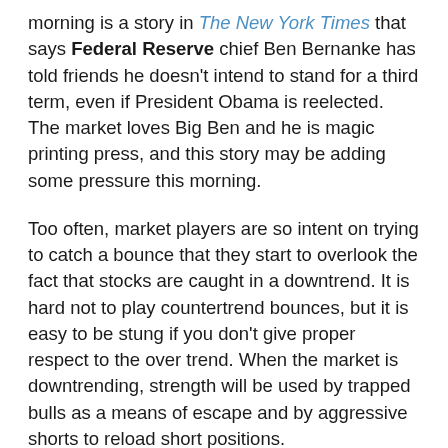morning is a story in The New York Times that says Federal Reserve chief Ben Bernanke has told friends he doesn't intend to stand for a third term, even if President Obama is reelected. The market loves Big Ben and he is magic printing press, and this story may be adding some pressure this morning.
Too often, market players are so intent on trying to catch a bounce that they start to overlook the fact that stocks are caught in a downtrend. It is hard not to play countertrend bounces, but it is easy to be stung if you don't give proper respect to the over trend. When the market is downtrending, strength will be used by trapped bulls as a means of escape and by aggressive shorts to reload short positions.
The best hope for the market is some better earnings reports, which may help to improve the mood, but so far there just isn't much of significance. The bulls are excited about Yahoo! (YHOO), which finally put out a decent quarter, but this is a stock that hasn't made a meaningful